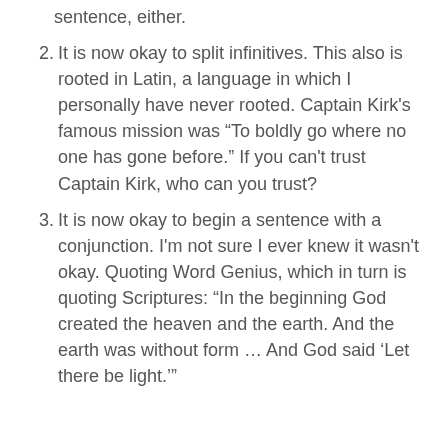sentence, either.
2. It is now okay to split infinitives. This also is rooted in Latin, a language in which I personally have never rooted. Captain Kirk's famous mission was “To boldly go where no one has gone before.” If you can't trust Captain Kirk, who can you trust?
3. It is now okay to begin a sentence with a conjunction. I'm not sure I ever knew it wasn't okay. Quoting Word Genius, which in turn is quoting Scriptures: “In the beginning God created the heaven and the earth. And the earth was without form … And God said ‘Let there be light.’”